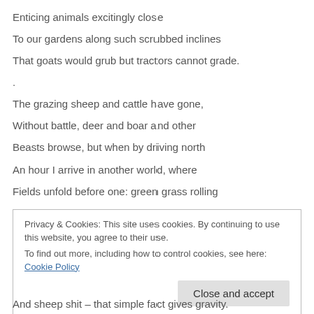Enticing animals excitingly close
To our gardens along such scrubbed inclines
That goats would grub but tractors cannot grade.
.
The grazing sheep and cattle have gone,
Without battle, deer and boar and other
Beasts browse, but when by driving north
An hour I arrive in another world, where
Fields unfold before one: green grass rolling
Privacy & Cookies: This site uses cookies. By continuing to use this website, you agree to their use.
To find out more, including how to control cookies, see here: Cookie Policy
Close and accept
And sheep shit – that simple fact gives gravity.